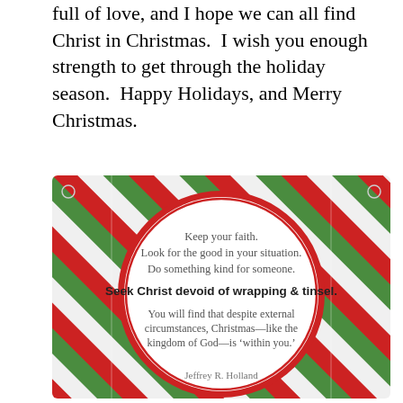full of love, and I hope we can all find Christ in Christmas.  I wish you enough strength to get through the holiday season.  Happy Holidays, and Merry Christmas.
[Figure (illustration): Christmas-themed graphic with diagonal red, green, and white candy-cane stripes as background. A large red circle in the center contains the quote: 'Keep your faith. Look for the good in your situation. Do something kind for someone. Seek Christ devoid of wrapping & tinsel. You will find that despite external circumstances, Christmas—like the kingdom of God—is 'within you.'' Attributed to Jeffrey R. Holland at the bottom.]